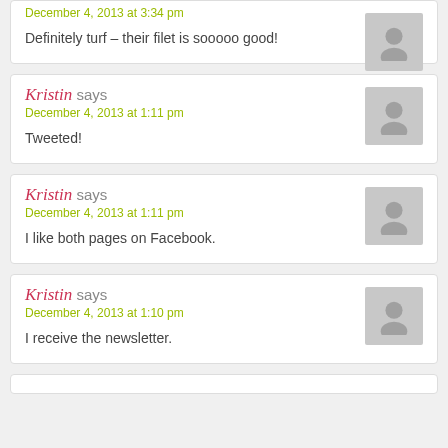Definitely turf – their filet is sooooo good!
Kristin says
December 4, 2013 at 1:11 pm
Tweeted!
Kristin says
December 4, 2013 at 1:11 pm
I like both pages on Facebook.
Kristin says
December 4, 2013 at 1:10 pm
I receive the newsletter.